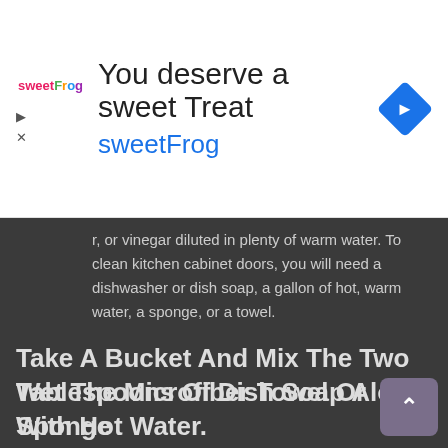[Figure (other): SweetFrog advertisement banner with logo, title 'You deserve a sweet Treat', subtitle 'sweetFrog', and a blue diamond navigation icon]
r, or vinegar diluted in plenty of warm water. To clean kitchen cabinet doors, you will need a dishwasher or dish soap, a gallon of hot, warm water, a sponge, or a towel.
Take A Bucket And Mix The Two Tablespoons Of Dish Soap Along With Hot Water.
Or, use one of our diy wood furniture polish recipes to protect your newly cleaned cabinets and drawers. Clean etched glass as gently as you can, as you don't want to damage the patterned surface. Silicone polishes, and even natural waxes, can build up, streak and haze over time.
Wet The Microfiber Towel Or Sponge